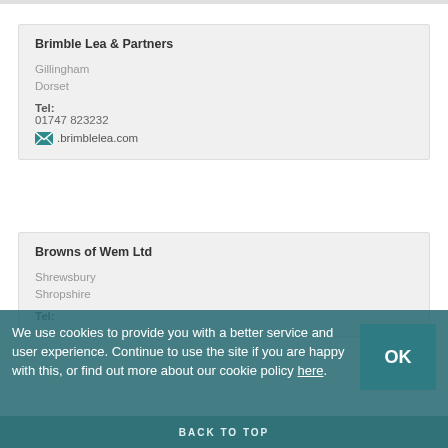Brimble Lea & Partners
Gillingham
Dorset
Tel:
01747 823232
.brimblelea.com
Browns of Wem Ltd
Shrewsbury
Shropshire
Tel:
We use cookies to provide you with a better service and user experience. Continue to use the site if you are happy with this, or find out more about our cookie policy here. OK
BACK TO TOP